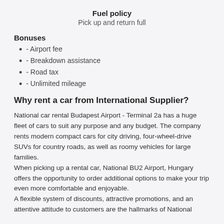Fuel policy
Pick up and return full
Bonuses
- Airport fee
- Breakdown assistance
- Road tax
- Unlimited mileage
Why rent a car from International Supplier?
National car rental Budapest Airport - Terminal 2a has a huge fleet of cars to suit any purpose and any budget. The company rents modern compact cars for city driving, four-wheel-drive SUVs for country roads, as well as roomy vehicles for large families.
When picking up a rental car, National BU2 Airport, Hungary offers the opportunity to order additional options to make your trip even more comfortable and enjoyable.
A flexible system of discounts, attractive promotions, and an attentive attitude to customers are the hallmarks of National